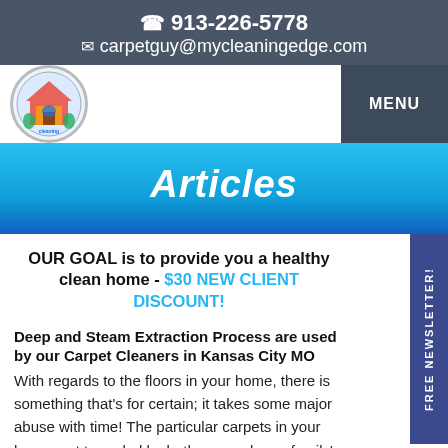913-226-5778 carpetguy@mycleaningedge.com
[Figure (logo): Cleaning Edge company logo with house and cleaning equipment graphic]
Articles
OUR GOAL is to provide you a healthy clean home - $30 NEW CLIENT DISCOUNT!
Deep and Steam Extraction Process are used by our Carpet Cleaners in Kansas City MO
With regards to the floors in your home, there is something that's for certain; it takes some major abuse with time! The particular carpets in your house get trampled by both you and your family's feet along with any guests which you have over. The walkways in